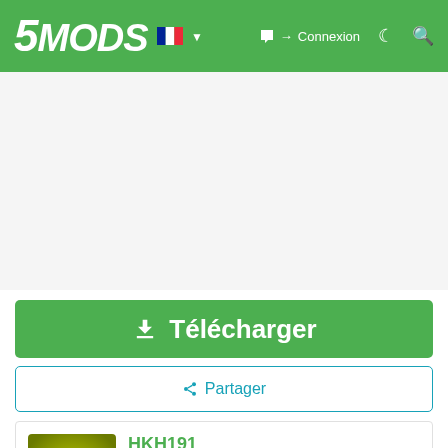5MODS — Connexion
[Figure (screenshot): Advertisement/blank white space area]
⬇ Télécharger
⤢ Partager
[Figure (illustration): Author avatar with biohazard symbol on yellow-green background]
HKH191
Social icons: chat, Skype, YouTube, Steam, GitHub, Discord
YouTube 1K
Patreon button (partially visible)